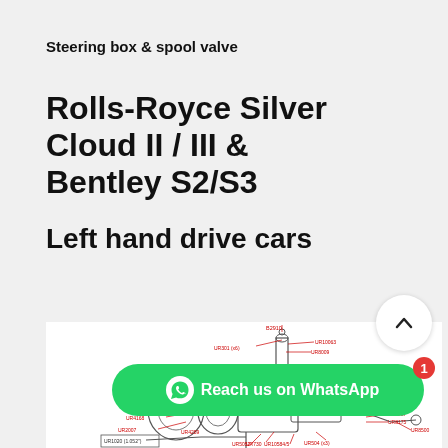Steering box & spool valve
Rolls-Royce Silver Cloud II / III & Bentley S2/S3
Left hand drive cars
[Figure (engineering-diagram): Technical exploded diagram of a steering box and spool valve assembly with red part number callouts including B2910, UR301(x6), UR8099, UR8259, UR8210, UR8210, UR853(x6), UR4168, UR2007, UR601, UR5697, UR504(x3), UR10584/5, UR730, UR5052, UR2656, UR1358, UR8287, UR8175, UR8500, UR4289, UR10063, UR8009, UR305(x3), and other labelled components]